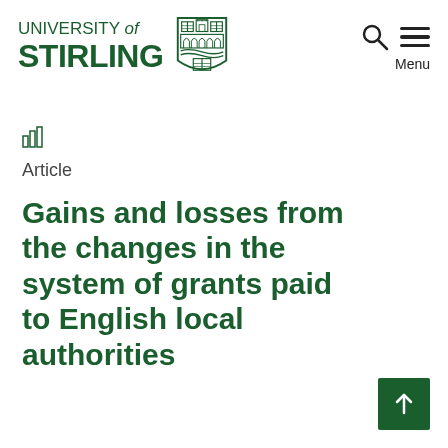UNIVERSITY of STIRLING
[Figure (logo): University of Stirling shield crest logo in green]
[Figure (other): Search icon and Menu icon with hamburger lines]
[Figure (other): Small bar chart / breadcrumb navigation icon]
Article
Gains and losses from the changes in the system of grants paid to English local authorities